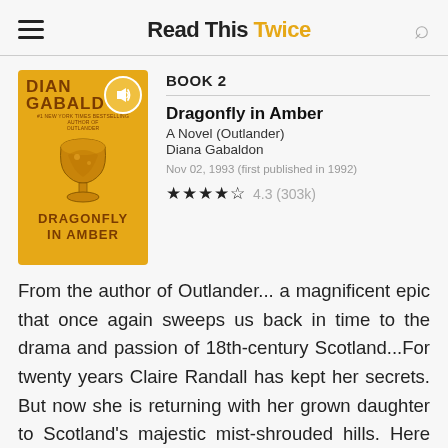Read This Twice
[Figure (illustration): Book cover for Dragonfly in Amber by Diana Gabaldon — orange/amber background with author name, a decorative golden goblet, and title text in dark brown.]
BOOK 2
Dragonfly in Amber
A Novel (Outlander)
Diana Gabaldon
Nov 02, 1993 (first published in 1992)
4.3 (303k)
From the author of Outlander... a magnificent epic that once again sweeps us back in time to the drama and passion of 18th-century Scotland...For twenty years Claire Randall has kept her secrets. But now she is returning with her grown daughter to Scotland's majestic mist-shrouded hills. Here Claire plans to reveal a truth as stunning as the